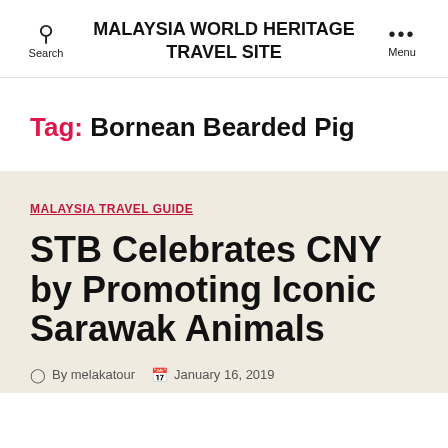MALAYSIA WORLD HERITAGE TRAVEL SITE
Tag: Bornean Bearded Pig
MALAYSIA TRAVEL GUIDE
STB Celebrates CNY by Promoting Iconic Sarawak Animals
By melakatour  January 16, 2019